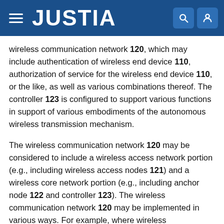JUSTIA
wireless communication network 120, which may include authentication of wireless end device 110, authorization of service for the wireless end device 110, or the like, as well as various combinations thereof. The controller 123 is configured to support various functions in support of various embodiments of the autonomous wireless transmission mechanism.
The wireless communication network 120 may be considered to include a wireless access network portion (e.g., including wireless access nodes 121) and a wireless core network portion (e.g., including anchor node 122 and controller 123). The wireless communication network 120 may be implemented in various ways. For example, where wireless communication network 120 is a 3G UMTS-based network, wireless communication network 120 may be implemented using a physical